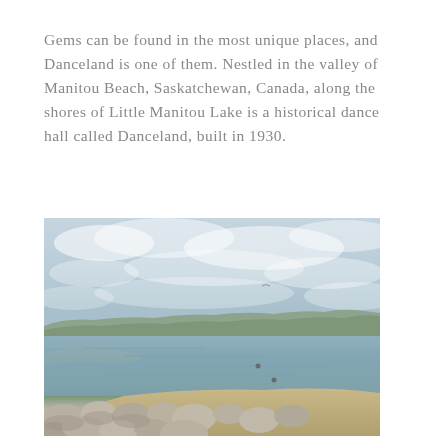Gems can be found in the most unique places, and Danceland is one of them. Nestled in the valley of Manitou Beach, Saskatchewan, Canada, along the shores of Little Manitou Lake is a historical dance hall called Danceland, built in 1930.
[Figure (photo): Photograph of Little Manitou Lake near Manitou Beach, Saskatchewan, Canada. The image shows a calm lake with cloudy sky above, rocky shoreline with large stones in the foreground, sandy beach to the left, and low rolling hills with sparse vegetation on the far shore.]